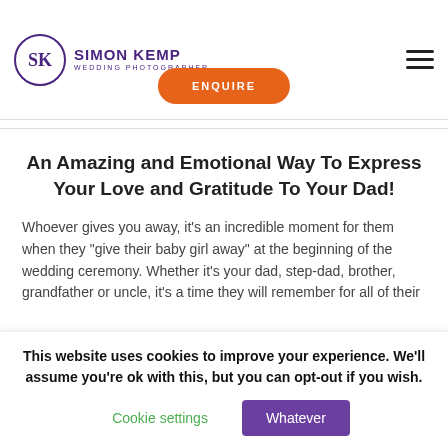Simon Kemp Wedding Photographer — ENQUIRE
An Amazing and Emotional Way To Express Your Love and Gratitude To Your Dad!
Whoever gives you away, it’s an incredible moment for them when they “give their baby girl away” at the beginning of the wedding ceremony. Whether it’s your dad, step-dad, brother, grandfather or uncle, it’s a time they will remember for all of their
This website uses cookies to improve your experience. We’ll assume you’re ok with this, but you can opt-out if you wish.
Cookie settings   Whatever